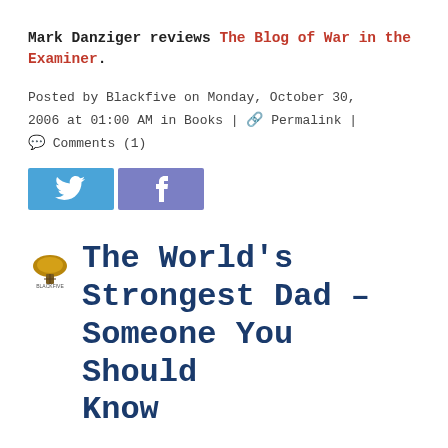Mark Danziger reviews The Blog of War in the Examiner.
Posted by Blackfive on Monday, October 30, 2006 at 01:00 AM in Books | 🔗 Permalink | 💬 Comments (1)
[Figure (other): Twitter and Facebook social share buttons]
The World's Strongest Dad - Someone You Should Know